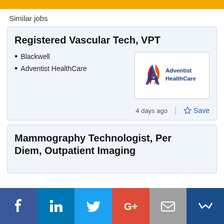Similar jobs
Registered Vascular Tech, VPT
Blackwell
Adventist HealthCare
[Figure (logo): Adventist HealthCare logo with stylized A and text]
4 days ago | ☆ Save
Mammography Technologist, Per Diem, Outpatient Imaging